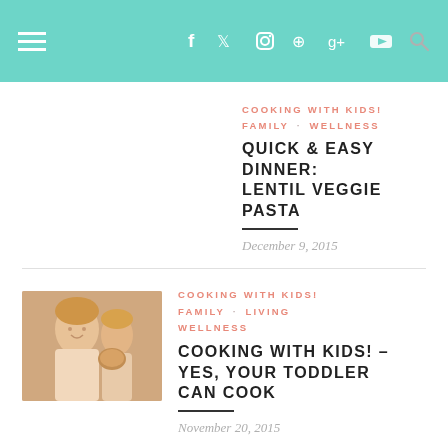Navigation bar with hamburger menu, social icons (f, twitter, instagram, pinterest, g+, youtube), and search
COOKING WITH KIDS!  FAMILY  ·  WELLNESS
QUICK & EASY DINNER: LENTIL VEGGIE PASTA
December 9, 2015
[Figure (photo): Photo of a woman and child cooking together, smiling]
COOKING WITH KIDS!  FAMILY  ·  LIVING  ·  WELLNESS
COOKING WITH KIDS! – YES, YOUR TODDLER CAN COOK
November 20, 2015